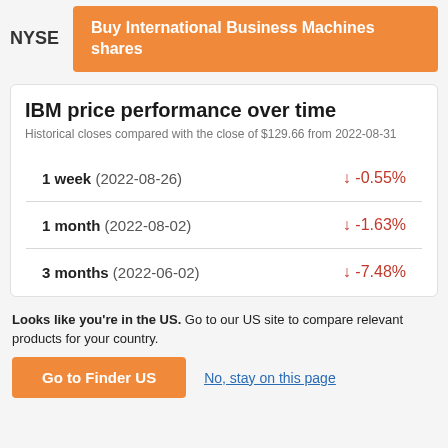NYSE
Buy International Business Machines shares
IBM price performance over time
Historical closes compared with the close of $129.66 from 2022-08-31
| Period | Change |
| --- | --- |
| 1 week (2022-08-26) | ↓ -0.55% |
| 1 month (2022-08-02) | ↓ -1.63% |
| 3 months (2022-06-02) | ↓ -7.48% |
Looks like you're in the US. Go to our US site to compare relevant products for your country.
Go to Finder US
No, stay on this page